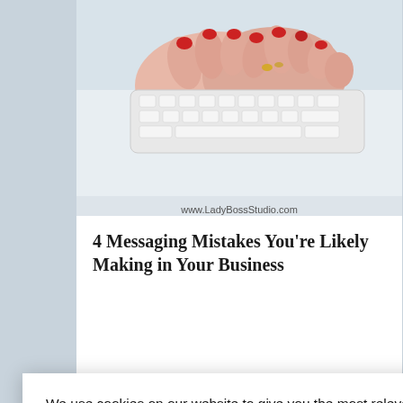[Figure (photo): Hands with red nail polish typing on a white Apple keyboard, photographed from above on a light blue/gray background]
www.LadyBossStudio.com
4 Messaging Mistakes You're Likely Making in Your Business
n brand
od reason –
We use cookies on our website to give you the most relevant experience by remembering your preferences and repeat visits. By clicking "Accept", you consent to the use of ALL the cookies.
Do not sell my personal information.
Cookie Settings
Accept
S